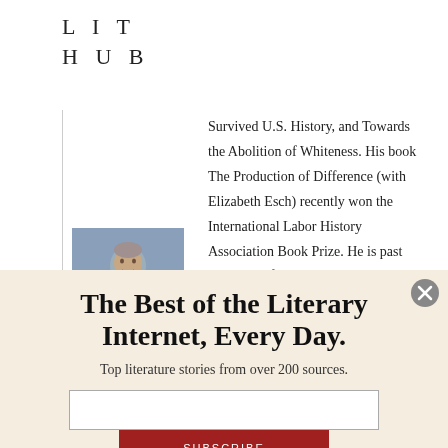LIT HUB
Survived U.S. History, and Towards the Abolition of Whiteness. His book The Production of Difference (with Elizabeth Esch) recently won the International Labor History Association Book Prize. He is past president of the American Studies Association and of the Working-Class Studies Association. He...
[Figure (photo): Author photo: man in blue shirt against bookshelf background]
The Best of the Literary Internet, Every Day.
Top literature stories from over 200 sources.
[Figure (other): Email input field for subscription]
SUBSCRIBE